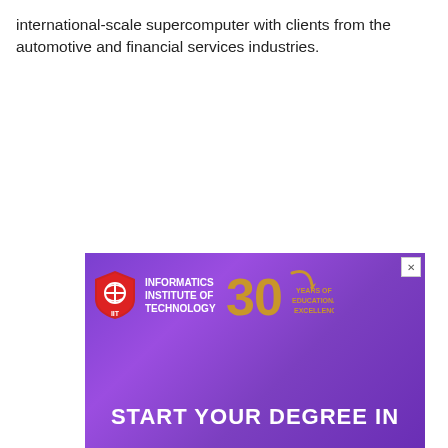international-scale supercomputer with clients from the automotive and financial services industries.
[Figure (illustration): Advertisement banner for Informatics Institute of Technology featuring their logo, '30 Years of Educational Excellence' badge, and text 'START YOUR DEGREE IN' on a purple gradient background]